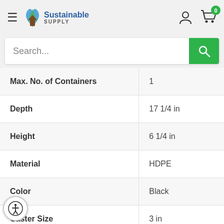Sustainable Supply — navigation header with search bar
| Property | Value |
| --- | --- |
| Max. No. of Containers | 1 |
| Depth | 17 1/4 in |
| Height | 6 1/4 in |
| Material | HDPE |
| Color | Black |
| Caster Size | 3 in |